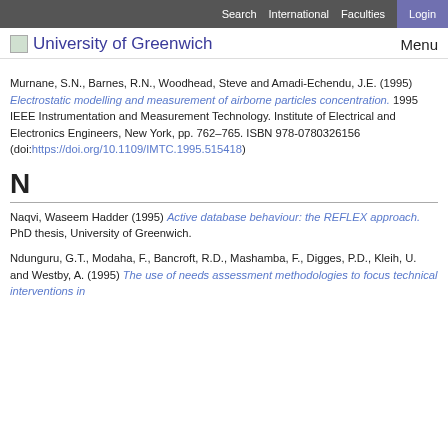Search  International  Faculties  Login
University of Greenwich
Murnane, S.N., Barnes, R.N., Woodhead, Steve and Amadi-Echendu, J.E. (1995) Electrostatic modelling and measurement of airborne particles concentration. 1995 IEEE Instrumentation and Measurement Technology. Institute of Electrical and Electronics Engineers, New York, pp. 762-765. ISBN 978-0780326156 (doi:https://doi.org/10.1109/IMTC.1995.515418)
N
Naqvi, Waseem Hadder (1995) Active database behaviour: the REFLEX approach. PhD thesis, University of Greenwich.
Ndunguru, G.T., Modaha, F., Bancroft, R.D., Mashamba, F., Digges, P.D., Kleih, U. and Westby, A. (1995) The use of needs assessment methodologies to focus technical interventions in